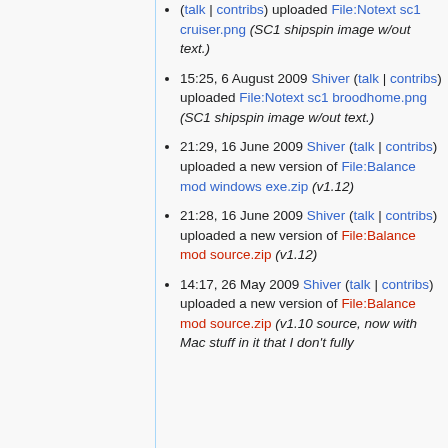(talk | contribs) uploaded File:Notext sc1 cruiser.png (SC1 shipspin image w/out text.)
15:25, 6 August 2009 Shiver (talk | contribs) uploaded File:Notext sc1 broodhome.png (SC1 shipspin image w/out text.)
21:29, 16 June 2009 Shiver (talk | contribs) uploaded a new version of File:Balance mod windows exe.zip (v1.12)
21:28, 16 June 2009 Shiver (talk | contribs) uploaded a new version of File:Balance mod source.zip (v1.12)
14:17, 26 May 2009 Shiver (talk | contribs) uploaded a new version of File:Balance mod source.zip (v1.10 source, now with Mac stuff in it that I don't fully